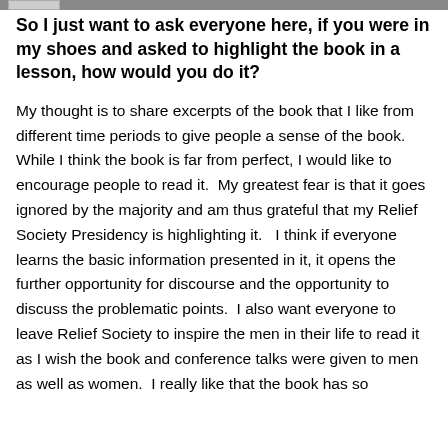So I just want to ask everyone here, if you were in my shoes and asked to highlight the book in a lesson, how would you do it?
My thought is to share excerpts of the book that I like from different time periods to give people a sense of the book.  While I think the book is far from perfect, I would like to encourage people to read it.  My greatest fear is that it goes ignored by the majority and am thus grateful that my Relief Society Presidency is highlighting it.   I think if everyone learns the basic information presented in it, it opens the further opportunity for discourse and the opportunity to discuss the problematic points.  I also want everyone to leave Relief Society to inspire the men in their life to read it as I wish the book and conference talks were given to men as well as women.  I really like that the book has so